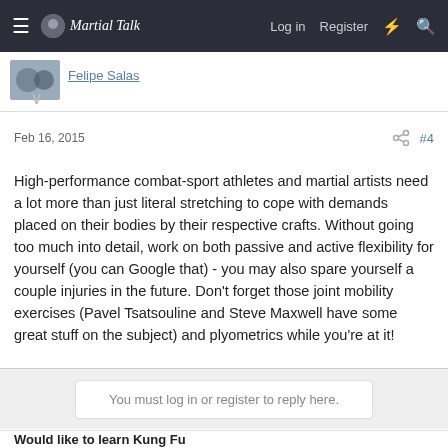≡ Martial Talk  Log in  Register
Feb 16, 2015  #4
High-performance combat-sport athletes and martial artists need a lot more than just literal stretching to cope with demands placed on their bodies by their respective crafts. Without going too much into detail, work on both passive and active flexibility for yourself (you can Google that) - you may also spare yourself a couple injuries in the future. Don't forget those joint mobility exercises (Pavel Tsatsouline and Steve Maxwell have some great stuff on the subject) and plyometrics while you're at it!
You must log in or register to reply here.
Would like to learn Kung Fu